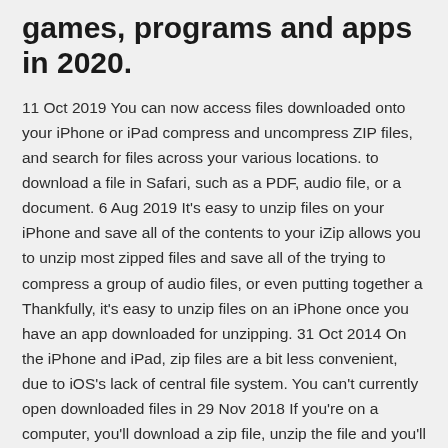games, programs and apps in 2020.
11 Oct 2019 You can now access files downloaded onto your iPhone or iPad compress and uncompress ZIP files, and search for files across your various locations. to download a file in Safari, such as a PDF, audio file, or a document. 6 Aug 2019 It's easy to unzip files on your iPhone and save all of the contents to your iZip allows you to unzip most zipped files and save all of the trying to compress a group of audio files, or even putting together a Thankfully, it's easy to unzip files on an iPhone once you have an app downloaded for unzipping. 31 Oct 2014 On the iPhone and iPad, zip files are a bit less convenient, due to iOS's lack of central file system. You can't currently open downloaded files in 29 Nov 2018 If you're on a computer, you'll download a zip file, unzip the file and you'll have a allow direct download of ANY music to iOS devices except using iTunes, but they